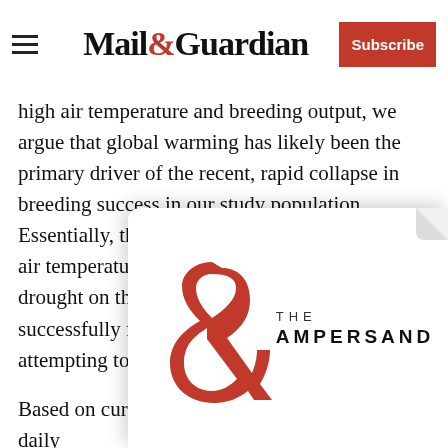Mail&Guardian | Subscribe
high air temperature and breeding output, we argue that global warming has likely been the primary driver of the recent, rapid collapse in breeding success in our study population. Essentially, the sub-lethal consequences of high air temperatures (regardless of high rainfall) and drought on the parents affect the probability of successfully fledging offspring or even attempting to breed at all."
Based on current warming trends the average daily m w w b P
[Figure (logo): The Ampersand logo — a large red ampersand symbol with the text 'THE AMPERSAND' in bold serif/sans-serif lettering beside it]